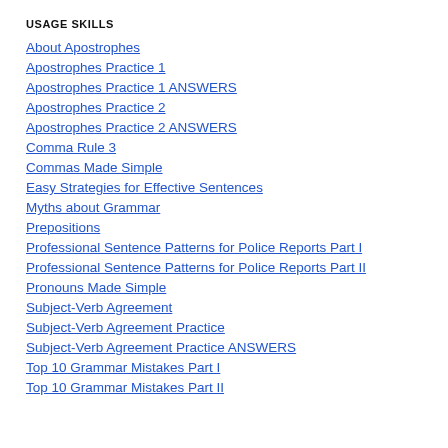USAGE SKILLS
About Apostrophes
Apostrophes Practice 1
Apostrophes Practice 1 ANSWERS
Apostrophes Practice 2
Apostrophes Practice 2 ANSWERS
Comma Rule 3
Commas Made Simple
Easy Strategies for Effective Sentences
Myths about Grammar
Prepositions
Professional Sentence Patterns for Police Reports Part I
Professional Sentence Patterns for Police Reports Part II
Pronouns Made Simple
Subject-Verb Agreement
Subject-Verb Agreement Practice
Subject-Verb Agreement Practice ANSWERS
Top 10 Grammar Mistakes Part I
Top 10 Grammar Mistakes Part II